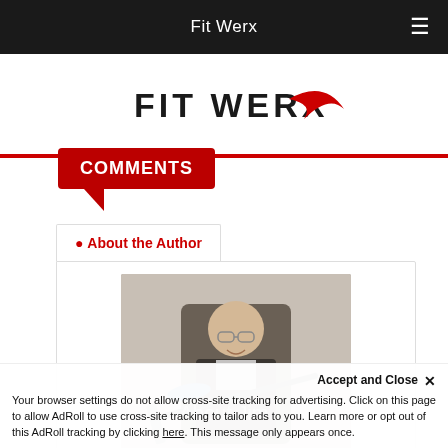Fit Werx
[Figure (logo): Fit Werx logo with red swoosh]
COMMENTS
About the Author
[Figure (photo): Photo of Jim working on a bicycle in a shop, smiling, wearing glasses and a dark jacket]
About Jim
Accept and Close ✕
Your browser settings do not allow cross-site tracking for advertising. Click on this page to allow AdRoll to use cross-site tracking to tailor ads to you. Learn more or opt out of this AdRoll tracking by clicking here. This message only appears once.